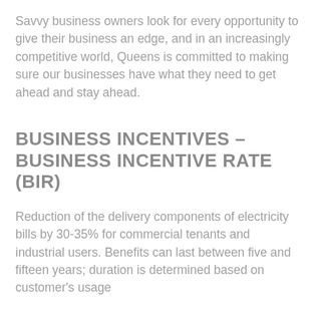Savvy business owners look for every opportunity to give their business an edge, and in an increasingly competitive world, Queens is committed to making sure our businesses have what they need to get ahead and stay ahead.
BUSINESS INCENTIVES – BUSINESS INCENTIVE RATE (BIR)
Reduction of the delivery components of electricity bills by 30-35% for commercial tenants and industrial users. Benefits can last between five and fifteen years; duration is determined based on customer's usage